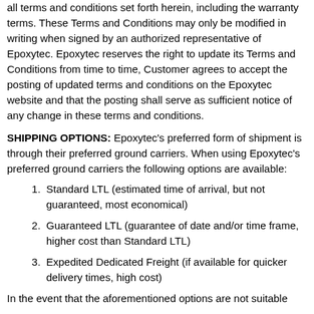all terms and conditions set forth herein, including the warranty terms. These Terms and Conditions may only be modified in writing when signed by an authorized representative of Epoxytec. Epoxytec reserves the right to update its Terms and Conditions from time to time, Customer agrees to accept the posting of updated terms and conditions on the Epoxytec website and that the posting shall serve as sufficient notice of any change in these terms and conditions.
SHIPPING OPTIONS: Epoxytec's preferred form of shipment is through their preferred ground carriers. When using Epoxytec's preferred ground carriers the following options are available:
Standard LTL (estimated time of arrival, but not guaranteed, most economical)
Guaranteed LTL (guarantee of date and/or time frame, higher cost than Standard LTL)
Expedited Dedicated Freight (if available for quicker delivery times, high cost)
In the event that the aforementioned options are not suitable